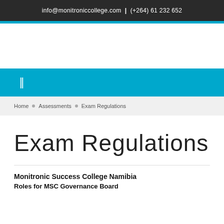info@monitroniccollege.com  |  (+264) 61 232 652
[navigation/logo area]
Home  •  Assessments  •  Exam Regulations
Exam Regulations
Monitronic Success College Namibia
Roles for MSC Governance Board